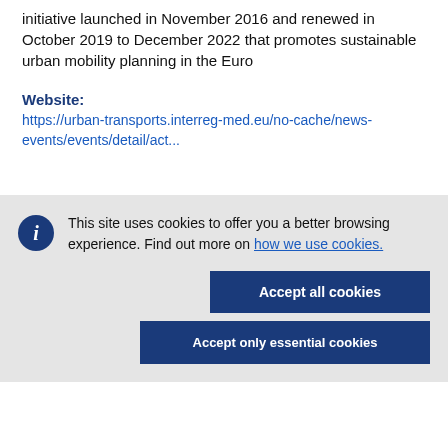initiative launched in November 2016 and renewed in October 2019 to December 2022 that promotes sustainable urban mobility planning in the Euro
Website: https://urban-transports.interreg-med.eu/no-cache/news-events/events/detail/act...
This site uses cookies to offer you a better browsing experience. Find out more on how we use cookies.
Accept all cookies
Accept only essential cookies